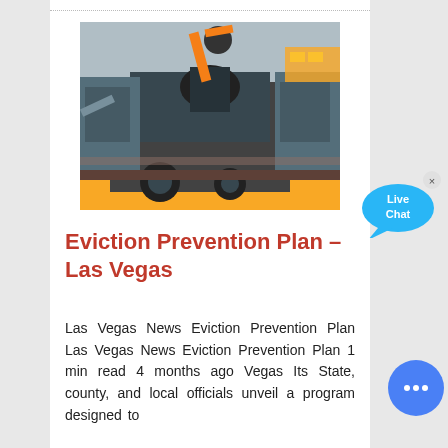[Figure (photo): Industrial machinery / rock crusher equipment with yellow frame and large mechanical components, photographed outdoors.]
Eviction Prevention Plan – Las Vegas
Las Vegas News Eviction Prevention Plan Las Vegas News Eviction Prevention Plan 1 min read 4 months ago Vegas Its State, county, and local officials unveil a program designed to